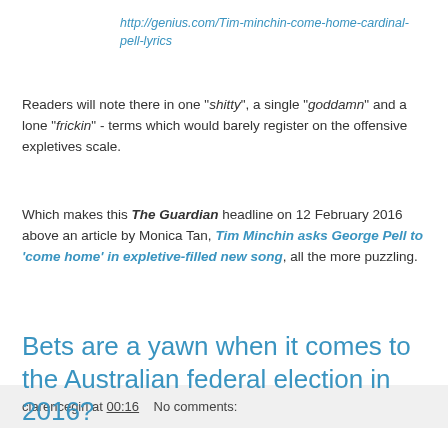http://genius.com/Tim-minchin-come-home-cardinal-pell-lyrics
Readers will note there in one "shitty", a single "goddamn" and a lone "frickin" - terms which would barely register on the offensive expletives scale.
Which makes this The Guardian headline on 12 February 2016 above an article by Monica Tan, Tim Minchin asks George Pell to 'come home' in expletive-filled new song, all the more puzzling.
clarencegirl at 00:16    No comments:
Bets are a yawn when it comes to the Australian federal election in 2016?